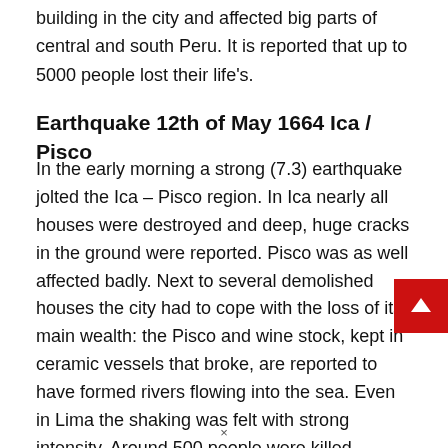building in the city and affected big parts of central and south Peru. It is reported that up to 5000 people lost their life's.
Earthquake 12th of May 1664 Ica / Pisco
In the early morning a strong (7.3) earthquake jolted the Ica – Pisco region. In Ica nearly all houses were destroyed and deep, huge cracks in the ground were reported. Pisco was as well affected badly. Next to several demolished houses the city had to cope with the loss of its main wealth: the Pisco and wine stock, kept in ceramic vessels that broke, are reported to have formed rivers flowing into the sea. Even in Lima the shaking was felt with strong intensity. Around 500 people were killed.